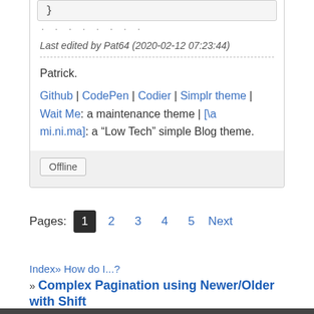}
Last edited by Pat64 (2020-02-12 07:23:44)
Patrick.
Github | CodePen | Codier | Simplr theme | Wait Me: a maintenance theme | [\a mi.ni.ma]: a “Low Tech” simple Blog theme.
Offline
Pages: 1 2 3 4 5 Next
Index» How do I...?
» Complex Pagination using Newer/Older with Shift